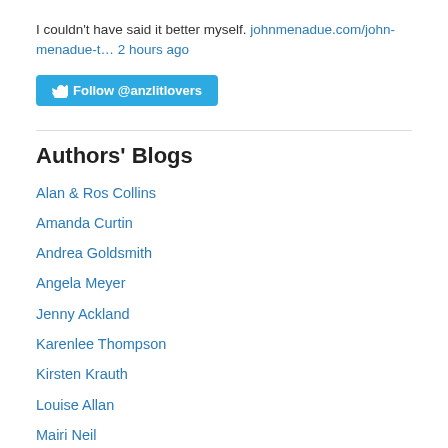I couldn't have said it better myself. johnmenadue.com/john-menadue-t… 2 hours ago
[Figure (other): Follow @anzlitlovers Twitter button]
Authors' Blogs
Alan & Ros Collins
Amanda Curtin
Andrea Goldsmith
Angela Meyer
Jenny Ackland
Karenlee Thompson
Kirsten Krauth
Louise Allan
Mairi Neil
Nathan Hobby, a biographer in Perth